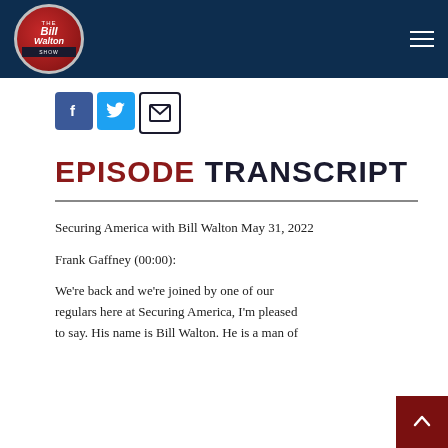[Figure (logo): The Bill Walton Show logo — circular red emblem with white text on dark navy header bar]
[Figure (infographic): Social media share icons: Facebook (blue square), Twitter (light blue square), Email (dark envelope square)]
EPISODE TRANSCRIPT
Securing America with Bill Walton May 31, 2022
Frank Gaffney (00:00):
We're back and we're joined by one of our regulars here at Securing America, I'm pleased to say. His name is Bill Walton. He is a man of